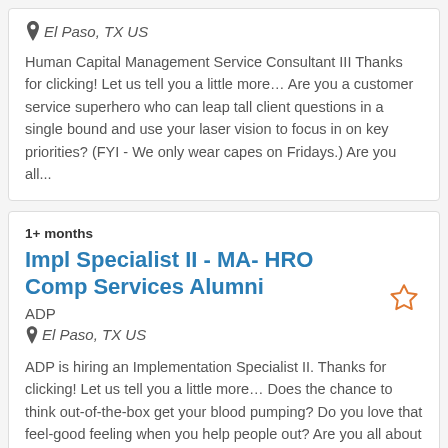El Paso, TX US
Human Capital Management Service Consultant III
Thanks for clicking! Let us tell you a little more… Are you a customer service superhero who can leap tall client questions in a single bound and use your laser vision to focus in on key priorities? (FYI - We only wear capes on Fridays.) Are you all...
1+ months
Impl Specialist II - MA- HRO Comp Services Alumni
ADP
El Paso, TX US
ADP is hiring an Implementation Specialist II. Thanks for clicking! Let us tell you a little more… Does the chance to think out-of-the-box get your blood pumping? Do you love that feel-good feeling when you help people out? Are you all about the follow-up and follow through that helps you and...